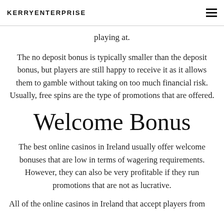KERRYENTERPRISE
playing at.
The no deposit bonus is typically smaller than the deposit bonus, but players are still happy to receive it as it allows them to gamble without taking on too much financial risk. Usually, free spins are the type of promotions that are offered.
Welcome Bonus
The best online casinos in Ireland usually offer welcome bonuses that are low in terms of wagering requirements. However, they can also be very profitable if they run promotions that are not as lucrative.
All of the online casinos in Ireland that accept players from